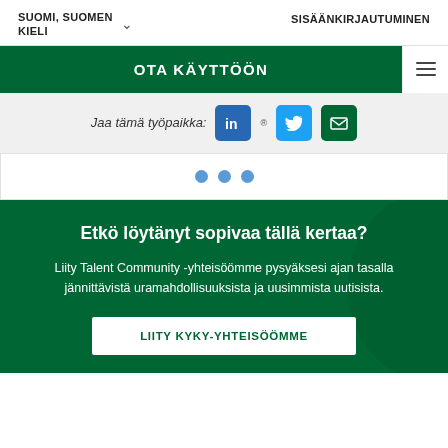SUOMI, SUOMEN KIELI   SISÄÄNKIRJAUTUMINEN
[Figure (screenshot): Green button with text OTA KÄYTTÖÖN and hamburger menu icon]
Jaa tämä työpaikka:
[Figure (infographic): Three blue pagination dots]
Etkö löytänyt sopivaa tällä kertaa?
Liity Talent Community -yhteisöömme pysyäksesi ajan tasalla jännittävistä uramahdollisuuksista ja uusimmista uutisista.
LIITY KYKY-YHTEISÖÖMME